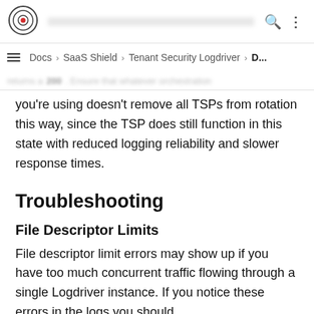Docs > SaaS Shield > Tenant Security Logdriver > D...
returns a 200 . Ensure that whatever orchestration you're using doesn't remove all TSPs from rotation this way, since the TSP does still function in this state with reduced logging reliability and slower response times.
Troubleshooting
File Descriptor Limits
File descriptor limit errors may show up if you have too much concurrent traffic flowing through a single Logdriver instance. If you notice these errors in the logs you should